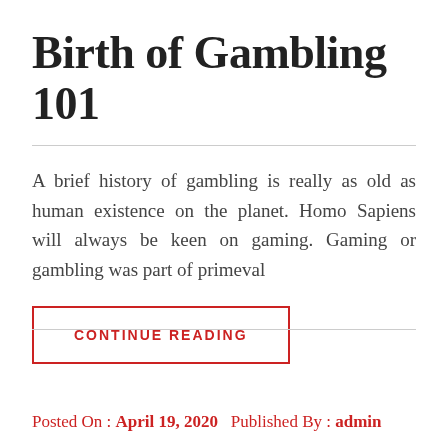Birth of Gambling 101
A brief history of gambling is really as old as human existence on the planet. Homo Sapiens will always be keen on gaming. Gaming or gambling was part of primeval
CONTINUE READING
Posted On : April 19, 2020   Published By : admin